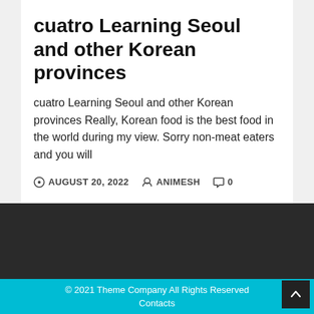cuatro Learning Seoul and other Korean provinces
cuatro Learning Seoul and other Korean provinces Really, Korean food is the best food in the world during my view. Sorry non-meat eaters and you will
AUGUST 20, 2022  ANIMESH  0
© 2021 Theme Company All Rights Reserved
Contacts